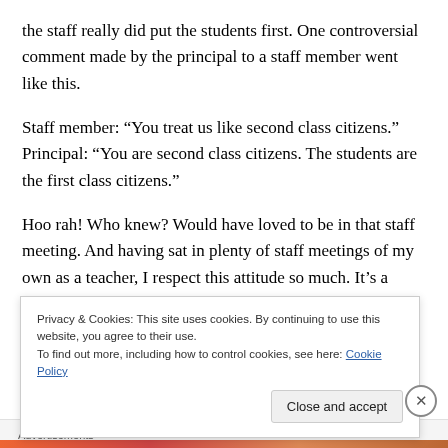the staff really did put the students first. One controversial comment made by the principal to a staff member went like this.
Staff member: “You treat us like second class citizens.” Principal: “You are second class citizens. The students are the first class citizens.”
Hoo rah! Who knew? Would have loved to be in that staff meeting. And having sat in plenty of staff meetings of my own as a teacher, I respect this attitude so much. It’s a
Privacy & Cookies: This site uses cookies. By continuing to use this website, you agree to their use.
To find out more, including how to control cookies, see here: Cookie Policy
Close and accept
Advertisements